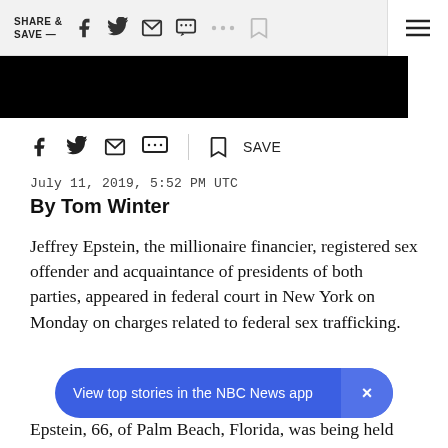SHARE & SAVE —  [social icons]  ≡
[Figure (screenshot): Black image banner area (article hero image cropped/darkened)]
[inline share icons: Facebook, Twitter, Email, SMS] | [bookmark] SAVE
July 11, 2019, 5:52 PM UTC
By Tom Winter
Jeffrey Epstein, the millionaire financier, registered sex offender and acquaintance of presidents of both parties, appeared in federal court in New York on Monday on charges related to federal sex trafficking.
View top stories in the NBC News app  ×
Epstein, 66, of Palm Beach, Florida, was being held